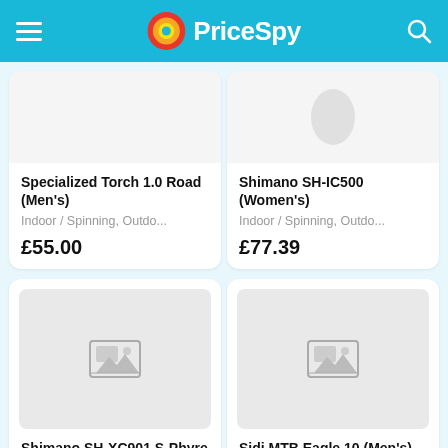PriceSpy
Specialized Torch 1.0 Road (Men's)
Indoor / Spinning, Outdo...
£55.00
Shimano SH-IC500 (Women's)
Indoor / Spinning, Outdo...
£77.39
[Figure (other): Placeholder image for Shimano SH-XC901 S-Phyre (Men's)]
Shimano SH-XC901 S-Phyre (Men's)
[Figure (other): Placeholder image for Sidi MTB Eagle 10 (Men's)]
Sidi MTB Eagle 10 (Men's)